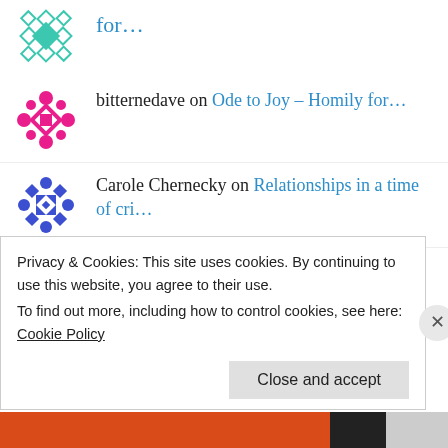for...
bitternedave on Ode to Joy – Homily for...
Carole Chernecky on Relationships in a time of cri...
frommypulpit on Sadness and the return of the...
Fr Brendan McConvery... on Sadness
Privacy & Cookies: This site uses cookies. By continuing to use this website, you agree to their use. To find out more, including how to control cookies, see here: Cookie Policy
Close and accept